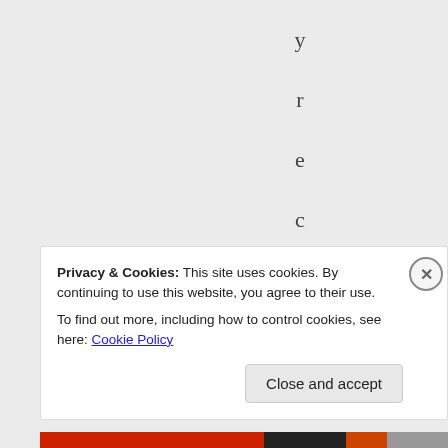y r e c e n t d e v
Privacy & Cookies: This site uses cookies. By continuing to use this website, you agree to their use.
To find out more, including how to control cookies, see here: Cookie Policy
Close and accept